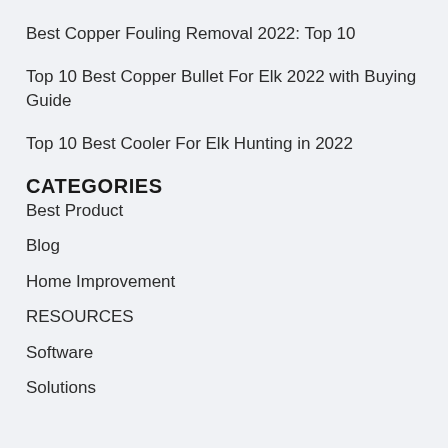Best Copper Fouling Removal 2022: Top 10
Top 10 Best Copper Bullet For Elk 2022 with Buying Guide
Top 10 Best Cooler For Elk Hunting in 2022
CATEGORIES
Best Product
Blog
Home Improvement
RESOURCES
Software
Solutions